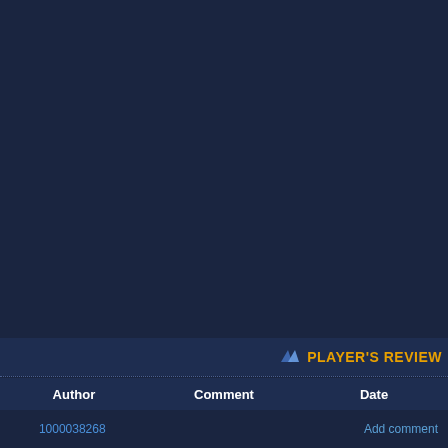[Figure (screenshot): Dark navy blue main content area, empty]
PLAYER'S REVIEW
| Author | Comment | Date |
| --- | --- | --- |
| 1000038268 |  | Add comment |